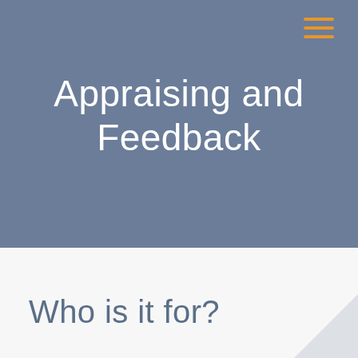Appraising and Feedback
Who is it for?